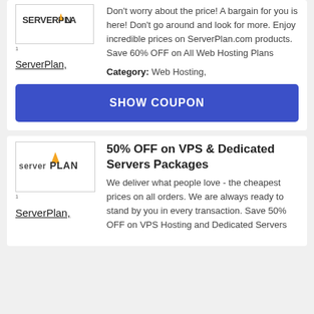[Figure (logo): ServerPlan logo with orange star and stylized text]
ServerPlan,
Don't worry about the price! A bargain for you is here! Don't go around and look for more. Enjoy incredible prices on ServerPlan.com products. Save 60% OFF on All Web Hosting Plans
Category: Web Hosting,
SHOW COUPON
[Figure (logo): ServerPlan logo (larger version) with orange triangle and bold text]
ServerPlan,
50% OFF on VPS & Dedicated Servers Packages
We deliver what people love - the cheapest prices on all orders. We are always ready to stand by you in every transaction. Save 50% OFF on VPS Hosting and Dedicated Servers